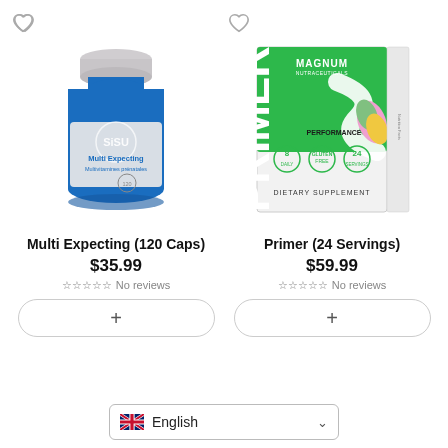[Figure (photo): SISU Multi Expecting 120 Caps supplement bottle - blue bottle with white label]
[Figure (photo): Magnum Nutraceuticals Primer 24 Servings performance packs box - green and white box]
Multi Expecting (120 Caps)
$35.99
No reviews
Primer (24 Servings)
$59.99
No reviews
English